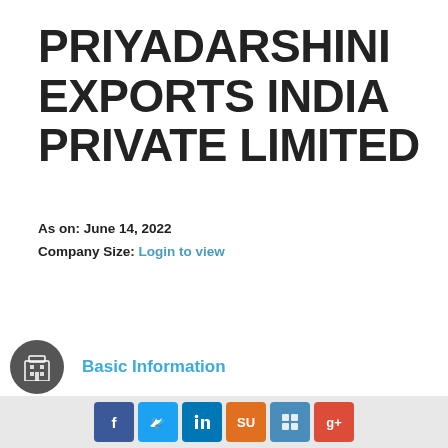PRIYADARSHINI EXPORTS INDIA PRIVATE LIMITED
As on: June 14, 2022
Company Size: Login to view
Track this company
Basic Information
Documents
Social share icons: Facebook, Twitter, LinkedIn, StumbleUpon, Delicious, Google+